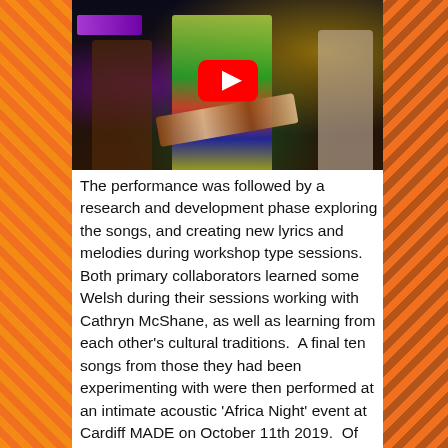[Figure (photo): Concert photo showing musicians on a dark stage with colorful lighting. A person in a bright multicolored outfit holds a balafon/marimba-style instrument. There is a YouTube play button overlay in the center of the image.]
The performance was followed by a research and development phase exploring the songs, and creating new lyrics and melodies during workshop type sessions. Both primary collaborators learned some Welsh during their sessions working with Cathryn McShane, as well as learning from each other's cultural traditions.  A final ten songs from those they had been experimenting with were then performed at an intimate acoustic 'Africa Night' event at Cardiff MADE on October 11th 2019.  Of these ten, four had words in it Welsh in addition to the original